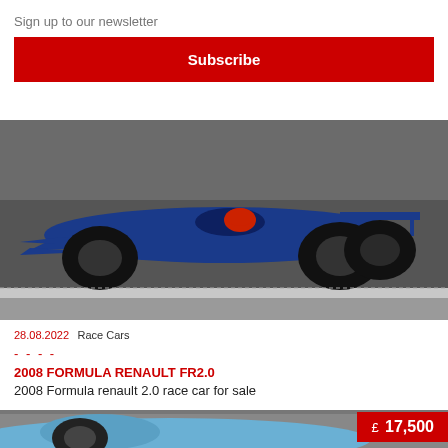×
Sign up to our newsletter
Subscribe
[Figure (photo): Blue Formula Renault FR2.0 race car on track, side view, photographed from low angle on asphalt]
28.08.2022 Race Cars
----
2008 FORMULA RENAULT FR2.0
2008 Formula renault 2.0 race car for sale
[Figure (photo): Light blue race car partial view, with red price badge showing £ 17,500]
£ 17,500